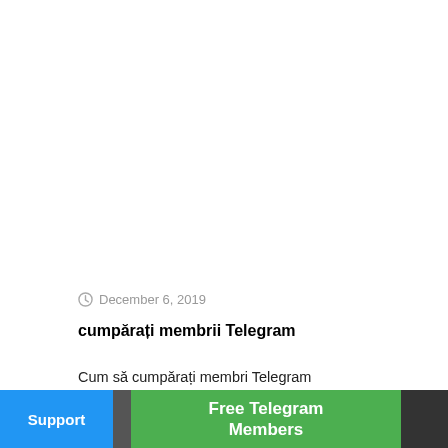December 6, 2019
cumpărați membrii Telegram
Cum să cumpărați membri Telegram Cumpărați membri Telegram, cumpărați membri Telegram activ și pasiv, membri reali și globali Telegram. Metoda de adăugare a membrilor Telegram: În […]
Support | Free Telegram Members